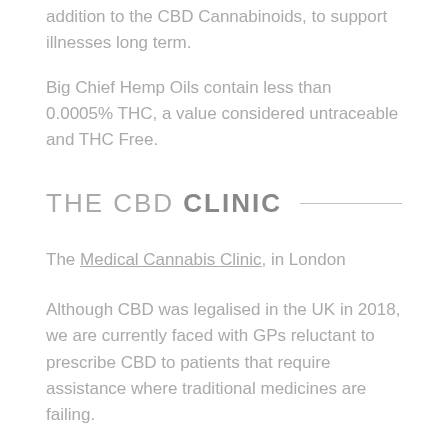addition to the CBD Cannabinoids, to support illnesses long term.
Big Chief Hemp Oils contain less than 0.0005% THC, a value considered untraceable and THC Free.
THE CBD CLINIC
The Medical Cannabis Clinic, in London
Although CBD was legalised in the UK in 2018, we are currently faced with GPs reluctant to prescribe CBD to patients that require assistance where traditional medicines are failing.